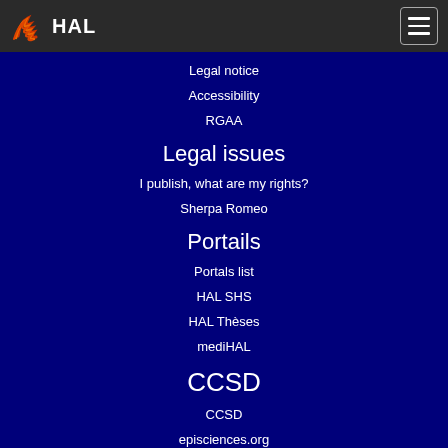HAL
Legal notice
Accessibility
RGAA
Legal issues
I publish, what are my rights?
Sherpa Romeo
Portails
Portals list
HAL SHS
HAL Thèses
mediHAL
CCSD
CCSD
episciences.org